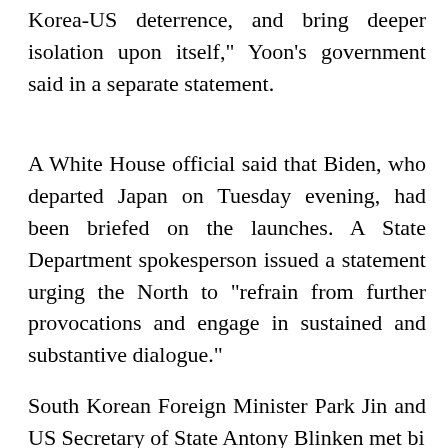Korea-US deterrence, and bring deeper isolation upon itself," Yoon's government said in a separate statement.
A White House official said that Biden, who departed Japan on Tuesday evening, had been briefed on the launches. A State Department spokesperson issued a statement urging the North to "refrain from further provocations and engage in sustained and substantive dialogue."
South Korean Foreign Minister Park Jin and US Secretary of State Antony Blinken met bi...